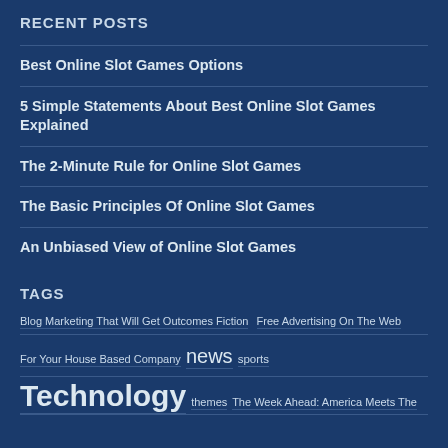RECENT POSTS
Best Online Slot Games Options
5 Simple Statements About Best Online Slot Games Explained
The 2-Minute Rule for Online Slot Games
The Basic Principles Of Online Slot Games
An Unbiased View of Online Slot Games
TAGS
Blog Marketing That Will Get Outcomes Fiction  Free Advertising On The Web For Your House Based Company  news  sports  Technology  themes  The Week Ahead: America Meets The